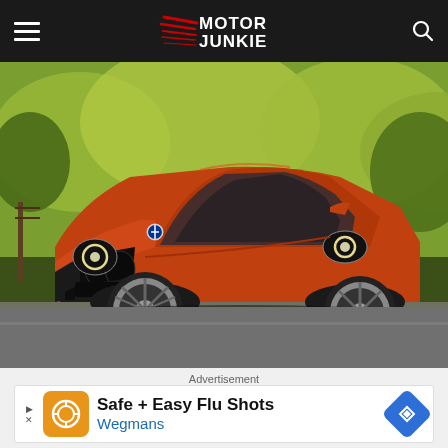Motor Junkie
[Figure (photo): Orange BMW 1M Coupe photographed against a green field backdrop, front three-quarter view, on a road surface]
Advertisement
[Figure (infographic): Advertisement banner: Safe + Easy Flu Shots - Wegmans, with orange Walgreens-style logo and blue navigation diamond icon]